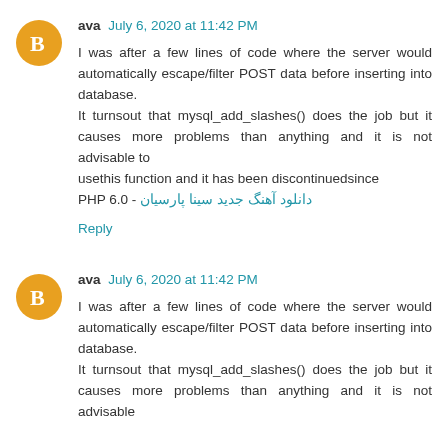ava July 6, 2020 at 11:42 PM
I was after a few lines of code where the server would automatically escape/filter POST data before inserting into database.
It turnsout that mysql_add_slashes() does the job but it causes more problems than anything and it is not advisable to
usethis function and it has been discontinuedsince
PHP 6.0 - دانلود آهنگ جدید سینا پارسیان
Reply
ava July 6, 2020 at 11:42 PM
I was after a few lines of code where the server would automatically escape/filter POST data before inserting into database.
It turnsout that mysql_add_slashes() does the job but it causes more problems than anything and it is not advisable